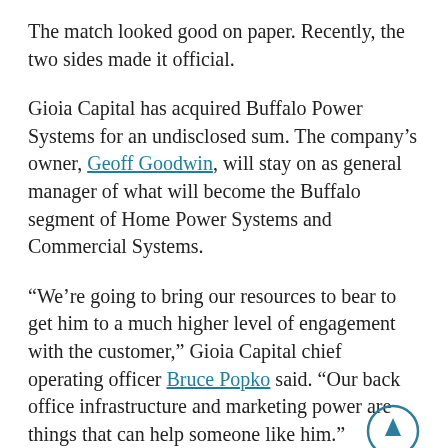The match looked good on paper. Recently, the two sides made it official.
Gioia Capital has acquired Buffalo Power Systems for an undisclosed sum. The company's owner, Geoff Goodwin, will stay on as general manager of what will become the Buffalo segment of Home Power Systems and Commercial Systems.
“We’re going to bring our resources to bear to get him to a much higher level of engagement with the customer,” Gioia Capital chief operating officer Bruce Popko said. “Our back office infrastructure and marketing power are things that can help someone like him.”
The deal will coincide with a 5,000-square-foot showroom and office on Duke Road, at the Eastland Commerce Center owned by